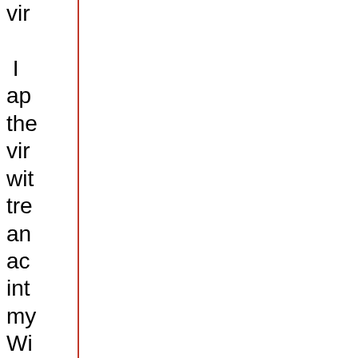vir I ap the vir wit tre an ac int my Wi An vo ec in my he